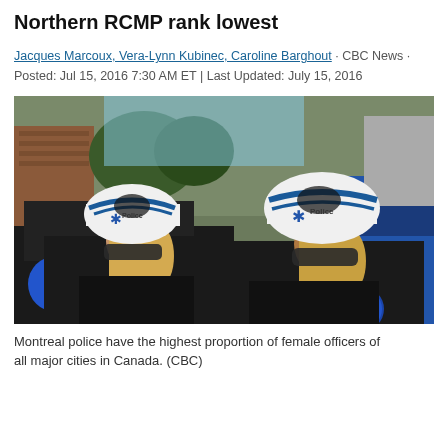Northern RCMP rank lowest
Jacques Marcoux, Vera-Lynn Kubinec, Caroline Barghout · CBC News · Posted: Jul 15, 2016 7:30 AM ET | Last Updated: July 15, 2016
[Figure (photo): Two female Montreal police officers in black uniforms and white/blue bike helmets with Police badge patches, wearing sunglasses, standing outdoors near vehicles. One officer is on left, one on right. Both have blue circular POLICE Montreal shoulder patches.]
Montreal police have the highest proportion of female officers of all major cities in Canada. (CBC)